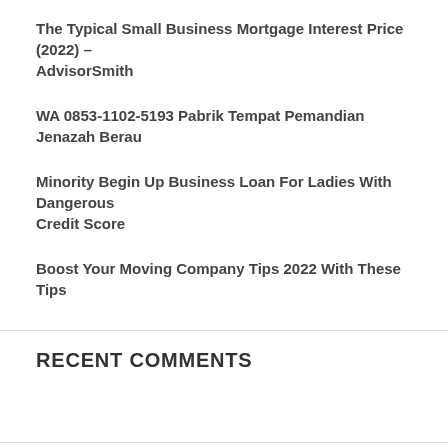The Typical Small Business Mortgage Interest Price (2022) – AdvisorSmith
WA 0853-1102-5193 Pabrik Tempat Pemandian Jenazah Berau
Minority Begin Up Business Loan For Ladies With Dangerous Credit Score
Boost Your Moving Company Tips 2022 With These Tips
RECENT COMMENTS
ARCHIVES